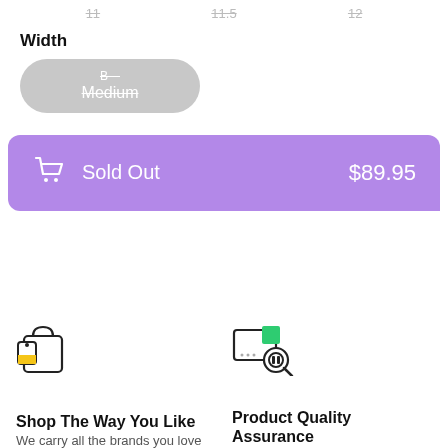11    11.5    12
Width
[Figure (other): A pill-shaped grey button with strikethrough text: 'B— Medium']
[Figure (other): Purple 'Sold Out' button with cart icon on left and '$89.95' on right]
[Figure (other): Shopping bag icon with yellow accent]
Shop The Way You Like
We carry all the brands you love
[Figure (other): Product quality assurance icon with magnifying glass]
Product Quality Assurance